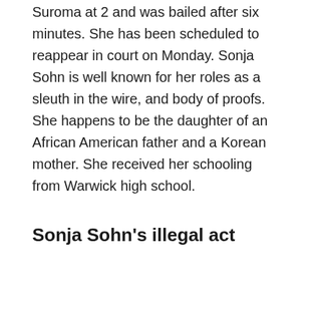Suroma at 2 and was bailed after six minutes. She has been scheduled to reappear in court on Monday. Sonja Sohn is well known for her roles as a sleuth in the wire, and body of proofs. She happens to be the daughter of an African American father and a Korean mother. She received her schooling from Warwick high school.
Sonja Sohn's illegal act